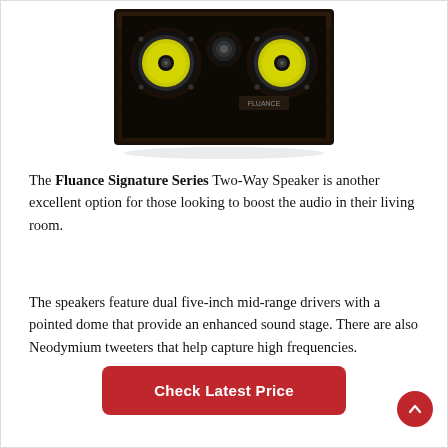[Figure (photo): Photo of a Fluance Signature Series two-way speaker — dark wood finish bookshelf speaker with two yellow cone mid-range drivers and a central tweeter, viewed from a slight angle above]
The Fluance Signature Series Two-Way Speaker is another excellent option for those looking to boost the audio in their living room.
The speakers feature dual five-inch mid-range drivers with a pointed dome that provide an enhanced sound stage. There are also Neodymium tweeters that help capture high frequencies.
Check Latest Price